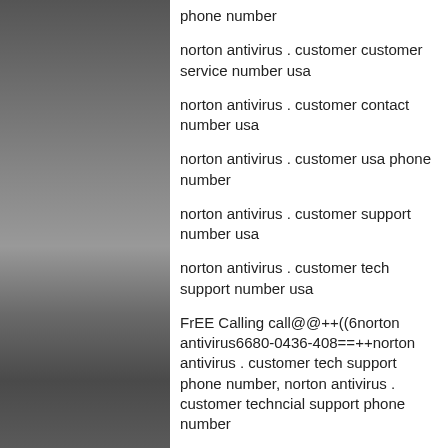[Figure (photo): Dark indoor photo showing a wall or door structure with yellow/orange pipes at the bottom]
phone number
norton antivirus . customer customer service number usa
norton antivirus . customer contact number usa
norton antivirus . customer usa phone number
norton antivirus . customer support number usa
norton antivirus . customer tech support number usa
FrEE Calling call@@++((6norton antivirus6680-0436-408==++norton antivirus . customer tech support phone number, norton antivirus . customer techncial support phone number
DADU's call&&=6 6680 0436 408@@ norton antivirus . customer customer